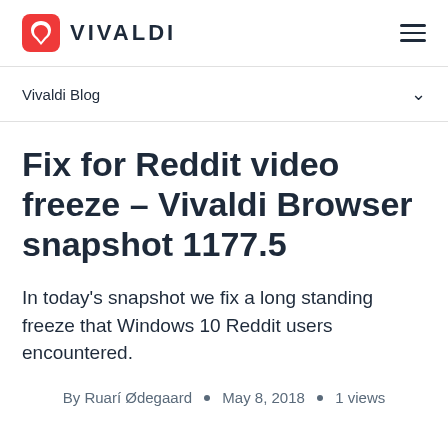VIVALDI
Vivaldi Blog
Fix for Reddit video freeze – Vivaldi Browser snapshot 1177.5
In today's snapshot we fix a long standing freeze that Windows 10 Reddit users encountered.
By Ruarí Ødegaard • May 8, 2018 • 1 views